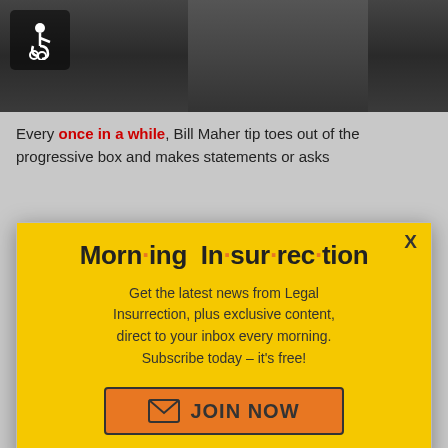[Figure (screenshot): Video thumbnail with wheelchair accessibility icon in top-left corner, showing a person in a suit against a dark background]
Every once in a while, Bill Maher tip toes out of the progressive box and makes statements or asks
[Figure (infographic): Yellow modal popup for Morning Insurrection newsletter subscription with orange dots between syllables in title, body text, and JOIN NOW button with envelope icon]
X (close button)
Morn·ing In·sur·rec·tion
Get the latest news from Legal Insurrection, plus exclusive content, direct to your inbox every morning. Subscribe today – it's free!
JOIN NOW